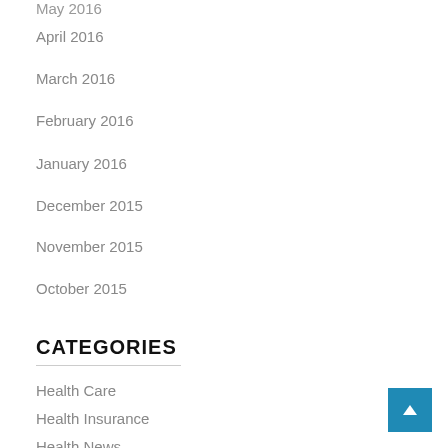May 2016
April 2016
March 2016
February 2016
January 2016
December 2015
November 2015
October 2015
CATEGORIES
Health Care
Health Insurance
Health News
Healthy Food